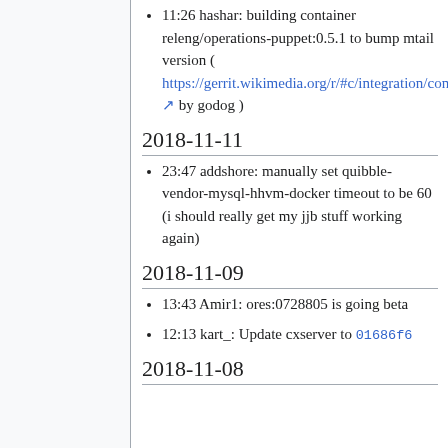11:26 hashar: building container releng/operations-puppet:0.5.1 to bump mtail version ( https://gerrit.wikimedia.org/r/#c/integration/config/+/472960/ by godog )
2018-11-11
23:47 addshore: manually set quibble-vendor-mysql-hhvm-docker timeout to be 60 (i should really get my jjb stuff working again)
2018-11-09
13:43 Amir1: ores:0728805 is going beta
12:13 kart_: Update cxserver to 01686f6
2018-11-08